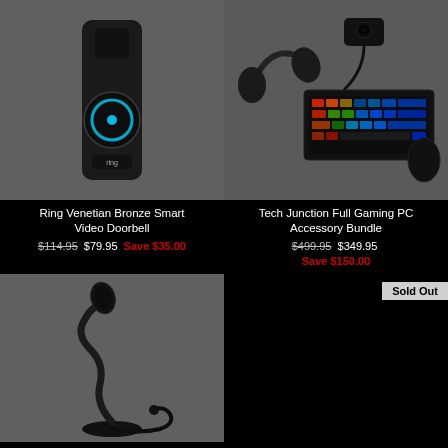[Figure (photo): Ring Venetian Bronze Smart Video Doorbell product photo on dark gray background]
Ring Venetian Bronze Smart Video Doorbell $114.95 $79.95 Save $35.00
[Figure (photo): Tech Junction Full Gaming PC Accessory Bundle product photo showing keyboard, headset, webcam on dark background]
Tech Junction Full Gaming PC Accessory Bundle $499.95 $349.95 Save $150.00
[Figure (photo): Gooseneck desktop microphone product photo on dark gray background]
Sold Out